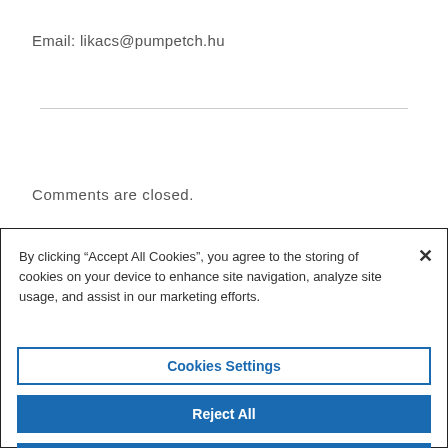Email: likacs@pumpetch.hu
Comments are closed.
By clicking “Accept All Cookies”, you agree to the storing of cookies on your device to enhance site navigation, analyze site usage, and assist in our marketing efforts.
Cookies Settings
Reject All
Accept All Cookies